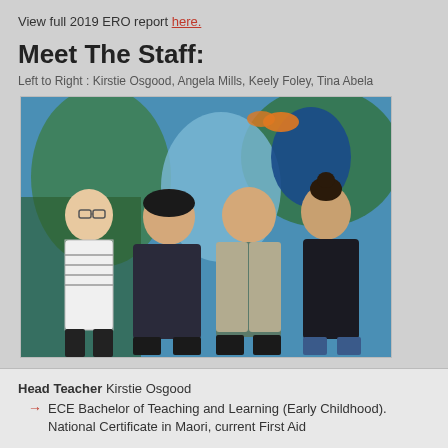View full 2019 ERO report here.
Meet The Staff:
Left to Right : Kirstie Osgood, Angela Mills, Keely Foley, Tina Abela
[Figure (photo): Four women standing in front of a colorful mural. Left to right: Kirstie Osgood, Angela Mills, Keely Foley, Tina Abela.]
Head Teacher  Kirstie Osgood
ECE Bachelor of Teaching and Learning (Early Childhood). National Certificate in Maori, current First Aid
Teacher  Keely Foley
Bachelor of teaching ECE & current first aid
Teacher  Angela Mills